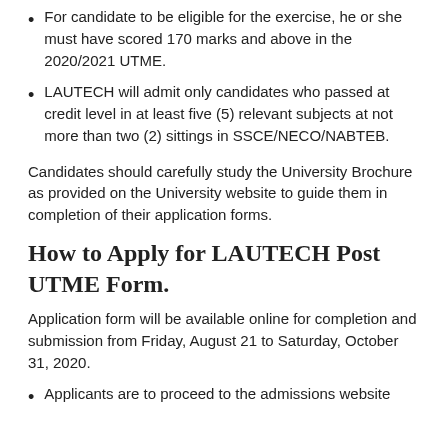For candidate to be eligible for the exercise, he or she must have scored 170 marks and above in the 2020/2021 UTME.
LAUTECH will admit only candidates who passed at credit level in at least five (5) relevant subjects at not more than two (2) sittings in SSCE/NECO/NABTEB.
Candidates should carefully study the University Brochure as provided on the University website to guide them in completion of their application forms.
How to Apply for LAUTECH Post UTME Form.
Application form will be available online for completion and submission from Friday, August 21 to Saturday, October 31, 2020.
Applicants are to proceed to the admissions website